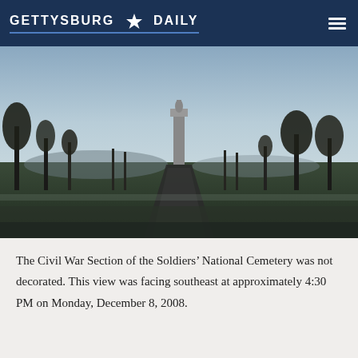GETTYSBURG DAILY
[Figure (photo): A winter cemetery scene at Soldiers' National Cemetery, Gettysburg. A long straight path leads toward a tall memorial monument in the center background. Bare trees line both sides of the path. The sky is pale blue-gray. Grass is frost-covered and the lighting is dim, suggesting late afternoon.]
The Civil War Section of the Soldiers’ National Cemetery was not decorated. This view was facing southeast at approximately 4:30 PM on Monday, December 8, 2008.